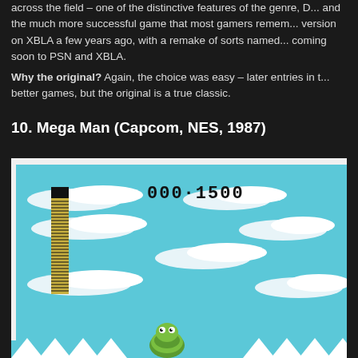across the field – one of the distinctive features of the genre, D... and the much more successful game that most gamers remember... version on XBLA a few years ago, with a remake of sorts named... coming soon to PSN and XBLA. Why the original? Again, the choice was easy – later entries in the series were better games, but the original is a true classic.
10. Mega Man (Capcom, NES, 1987)
[Figure (screenshot): A screenshot from Mega Man (NES, 1987) showing a level with a light blue sky background, white cloud platforms, a health bar on the left side (black and yellow segmented bar), a pixel score display reading '000-1500', and a green turtle-like enemy at the bottom center.]